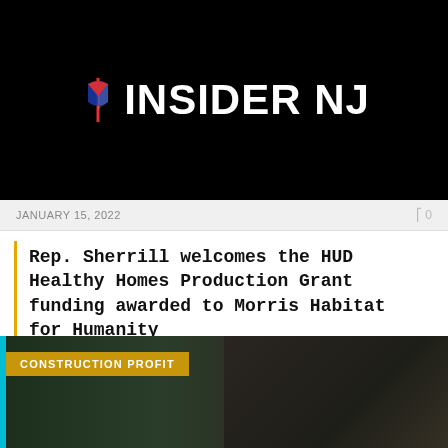[Figure (logo): Insider NJ logo — white text on black background with stylized NJ icon]
JANUARY 15, 2022   0
Rep. Sherrill welcomes the HUD Healthy Homes Production Grant funding awarded to Morris Habitat for Humanity
Rep. Sherrill welcomes the HUD Healthy Homes Production Grant funding awarded to Morris Habitat for...
[Figure (photo): Food preparation scene on dark background with green cutting board and vegetables, labeled CONSTRUCTION PROFIT]